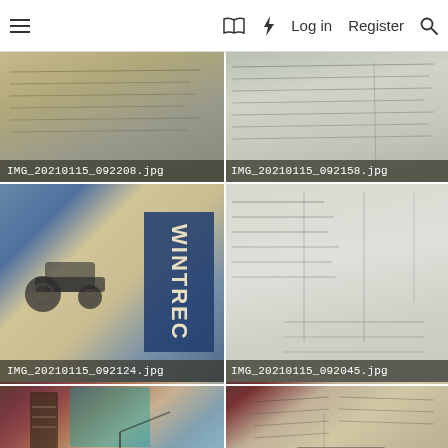☰  □  ⚡  Log in  Register  🔍
[Figure (photo): Photo thumbnail of document pages, labeled IMG_20210115_092208.jpg]
[Figure (photo): Photo thumbnail of document pages, labeled IMG_20210115_092158.jpg]
[Figure (photo): Photo thumbnail of WINTREC box with vehicle illustration, labeled IMG_20210115_092124.jpg]
[Figure (photo): Photo thumbnail of a form/document page, labeled IMG_20210115_092045.jpg]
[Figure (photo): Photo thumbnail partially visible, bottom left]
[Figure (photo): Photo thumbnail partially visible, bottom right]